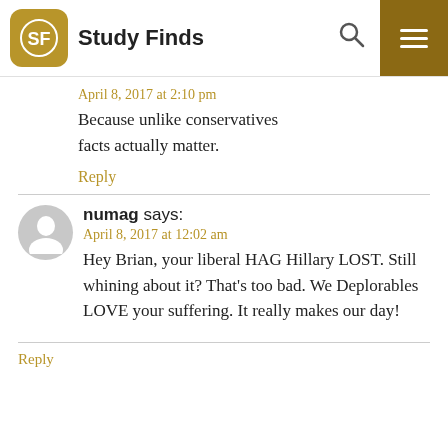Study Finds
April 8, 2017 at 2:10 pm
Because unlike conservatives facts actually matter.
Reply
numag says:
April 8, 2017 at 12:02 am
Hey Brian, your liberal HAG Hillary LOST. Still whining about it? That's too bad. We Deplorables LOVE your suffering. It really makes our day!
Reply